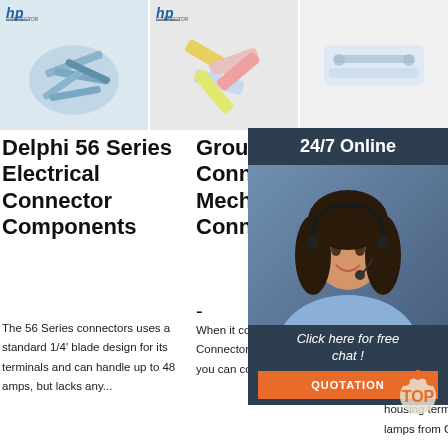[Figure (photo): Product image 1: pile of blue metal connectors/terminals with HP logo]
[Figure (photo): Product image 2: colorful plastic connectors/terminals with HP logo]
[Figure (photo): Product image 3: clear plastic connector]
Delphi 56 Series Electrical Connector Components
The 56 Series connectors uses a standard 1/4' blade design for its terminals and can handle up to 48 amps, but lacks any...
Ground Terminal Connector Mechanical Connectors -
When it comes to Ground Terminal Connector Mechanical Connectors you can count on
JST copy and female housing terminal connector
Find JST XH copy male and female housing terminal connector for led lamps from China
[Figure (infographic): 24/7 Online chat panel with female customer service rep, 'Click here for free chat!' text, and orange QUOTATION button]